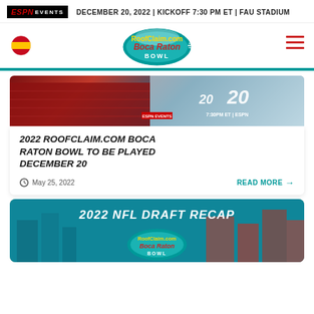ESPN EVENTS | DECEMBER 20, 2022 | KICKOFF 7:30 PM ET | FAU STADIUM
[Figure (logo): RoofClaim.com Boca Raton Bowl logo - football shaped with teal, yellow, red colors]
[Figure (photo): Stadium interior photo with Boca Raton Bowl branding overlay, showing 7:30PM ET and ESPN Events badge]
2022 ROOFCLAIM.COM BOCA RATON BOWL TO BE PLAYED DECEMBER 20
May 25, 2022
READ MORE →
[Figure (photo): 2022 NFL Draft Recap image with RoofClaim.com Boca Raton Bowl logo on teal/red city background]